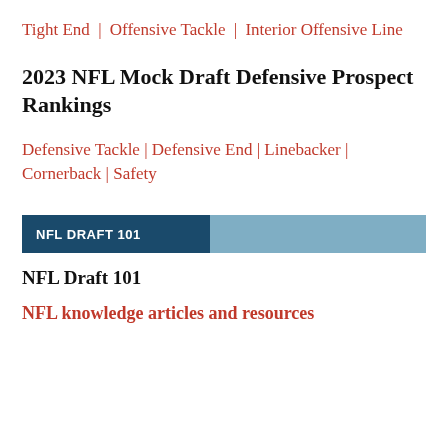Tight End | Offensive Tackle | Interior Offensive Line
2023 NFL Mock Draft Defensive Prospect Rankings
Defensive Tackle | Defensive End | Linebacker | Cornerback | Safety
NFL DRAFT 101
NFL Draft 101
NFL knowledge articles and resources